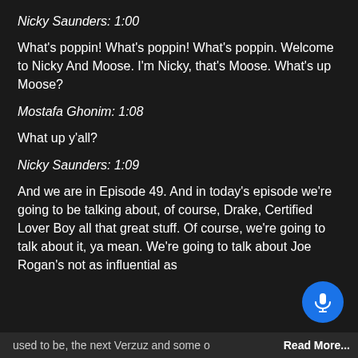Nicky Saunders: 1:00
What's poppin! What's poppin! What's poppin. Welcome to Nicky And Moose. I'm Nicky, that's Moose. What's up Moose?
Mostafa Ghonim: 1:08
What up y'all?
Nicky Saunders: 1:09
And we are in Episode 49. And in today's episode we're going to be talking about, of course, Drake, Certified Lover Boy all that great stuff. Of course, we're going to talk about it, ya mean. We're going to talk about Joe Rogan's not as influential as
used to be, the next Verzuz and some other...
Read More...